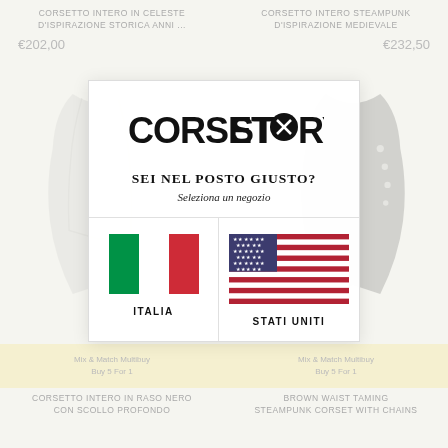CORSETTO INTERO IN CELESTE D'ISPIRAZIONE STORICA ANNI ...
CORSETTO INTERO STEAMPUNK D'ISPIRAZIONE MEDIEVALE
€202,00
€232,50
[Figure (screenshot): Corset Story website modal overlay showing store selection between ITALIA and STATI UNITI, with Italian and American flags displayed. Background shows product listings with corset images.]
CORSET STORY™
SEI NEL POSTO GIUSTO?
Seleziona un negozio
ITALIA
STATI UNITI
Mix & Match Multibuy Buy 5 For 1
Mix & Match Multibuy Buy 5 For 1
CORSETTO INTERO IN RASO NERO CON SCOLLO PROFONDO
BROWN WAIST TAMING STEAMPUNK CORSET WITH CHAINS